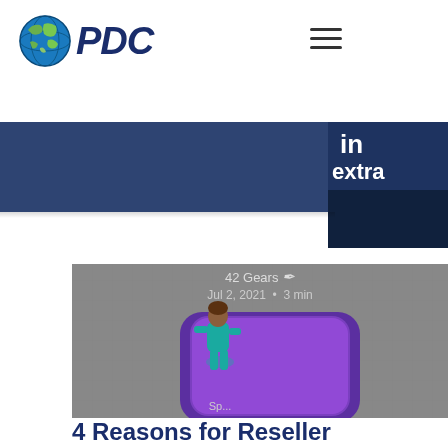[Figure (logo): PDC company logo with globe icon and italic bold dark blue PDC text]
[Figure (infographic): Hamburger/menu icon (three horizontal lines)]
[Figure (screenshot): Partial right-side panel overlay with dark navy background showing dots and partial text 'in' and 'extra']
[Figure (photo): Article card image showing a 3D rendered figure in teal standing on a large purple smartphone, with gray background. Shows author '42 Gears', date 'Jul 2, 2021 · 3 min', and partial text 'Sp...' at bottom]
4 Reasons for Reseller